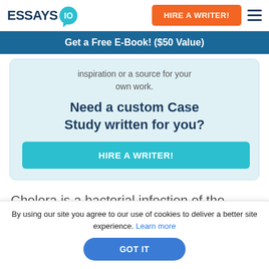ESSAYS IO — HIRE A WRITER! [nav]
Get a Free E-Book! ($50 Value)
inspiration or a source for your own work.
Need a custom Case Study written for you?
HIRE A WRITER!
Cholera is a bacterial infection of the small intestine that is a major cause of mortality in
By using our site you agree to our use of cookies to deliver a better site experience. Learn more
GOT IT